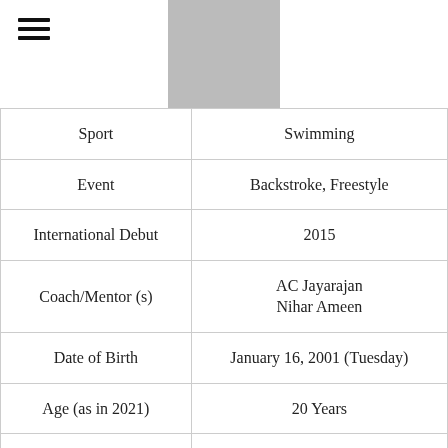[Figure (photo): Profile photo placeholder (gray rectangle) at top center]
| Sport | Swimming |
| --- | --- |
| Event | Backstroke, Freestyle |
| International Debut | 2015 |
| Coach/Mentor (s) | AC Jayarajan
Nihar Ameen |
| Date of Birth | January 16, 2001 (Tuesday) |
| Age (as in 2021) | 20 Years |
| Birth Place | Bangalore, Karnataka, India |
| Hometown | Bangalore, Karnataka, India |
| Zodiac Sign | Capricorn |